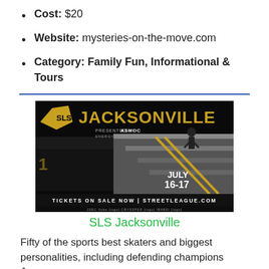Cost: $20
Website: mysteries-on-the-move.com
Category: Family Fun, Informational & Tours
[Figure (photo): SLS Jacksonville skateboarding event promotional banner. Black background with large yellow 'JACKSONVILLE' text, SLS logo, 'PRESENTED BY ASHOC ENERGY', skateboarder on stairs/rail, 'JULY 16-17', 'TICKETS ON SALE NOW | STREETLEAGUE.COM', sponsor logos at bottom.]
SLS Jacksonville
Fifty of the sports best skaters and biggest personalities, including defending champions Jagger